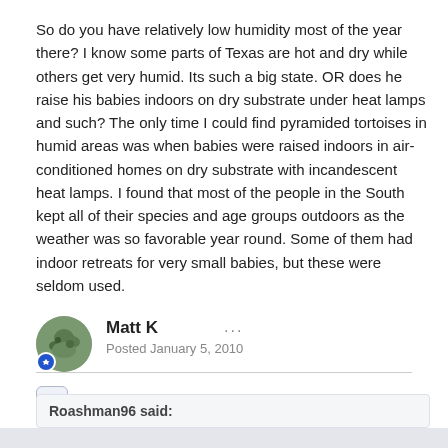So do you have relatively low humidity most of the year there? I know some parts of Texas are hot and dry while others get very humid. Its such a big state. OR does he raise his babies indoors on dry substrate under heat lamps and such? The only time I could find pyramided tortoises in humid areas was when babies were raised indoors in air-conditioned homes on dry substrate with incandescent heat lamps. I found that most of the people in the South kept all of their species and age groups outdoors as the weather was so favorable year round. Some of them had indoor retreats for very small babies, but these were seldom used.
Quote
Matt K
Posted January 5, 2010
Roashman96 said: